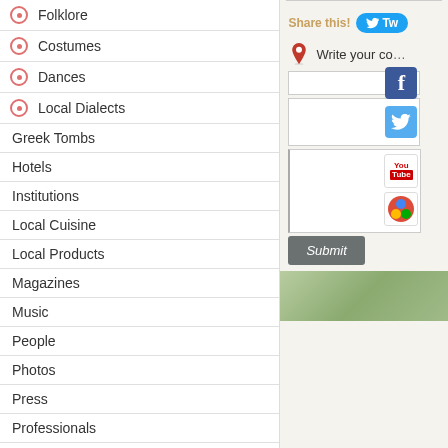Folklore
Costumes
Dances
Local Dialects
Greek Tombs
Hotels
Institutions
Local Cuisine
Local Products
Magazines
Music
People
Photos
Press
Professionals
Sights
Διαδρομές
Churches - Monasteries
Nature - Lakes - Caves
Various
Share this!
Write your comment
Submit